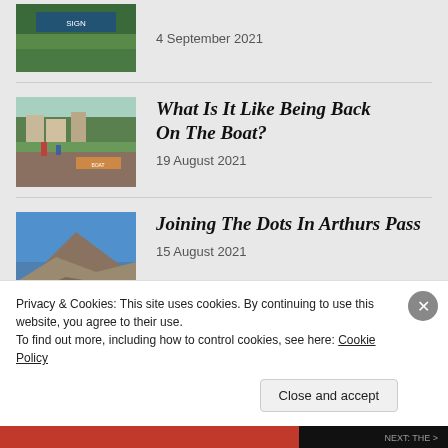[Figure (photo): Thumbnail image partially visible at top - shows a sign/billboard in an outdoor setting]
4 September 2021
[Figure (photo): Thumbnail of people near a canal boat or lock in a village setting]
What Is It Like Being Back On The Boat?
19 August 2021
[Figure (photo): Thumbnail of a rocky hillside/mountain pass with blue sky]
Joining The Dots In Arthurs Pass
15 August 2021
Privacy & Cookies: This site uses cookies. By continuing to use this website, you agree to their use.
To find out more, including how to control cookies, see here: Cookie Policy
Close and accept